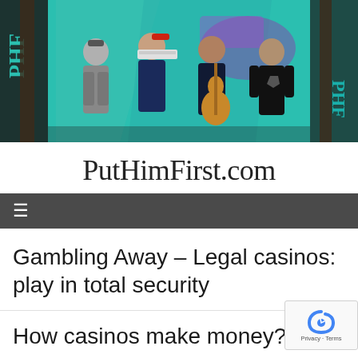[Figure (photo): Four male band members standing in front of a colorful teal graffiti wall, one holding a guitar, one holding a keyboard/synthesizer, wearing casual dark clothing]
PutHimFirst.com
≡
Gambling Away – Legal casinos: play in total security
How casinos make money?